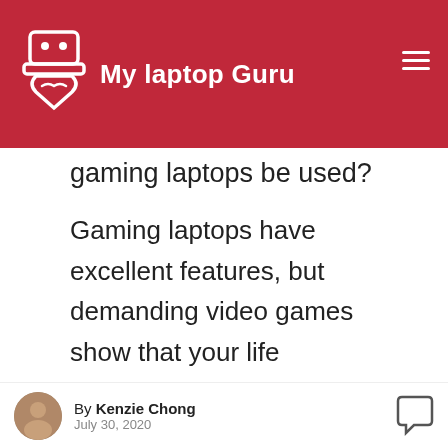My laptop Guru
gaming laptops be used?
Gaming laptops have excellent features, but demanding video games show that your life expectancy shortened. As time goes by, the demand for hardware for games is getting higher and higher. Gaming laptops need to use better hardware to handle advanced graphics,
By Kenzie Chong
July 30, 2020